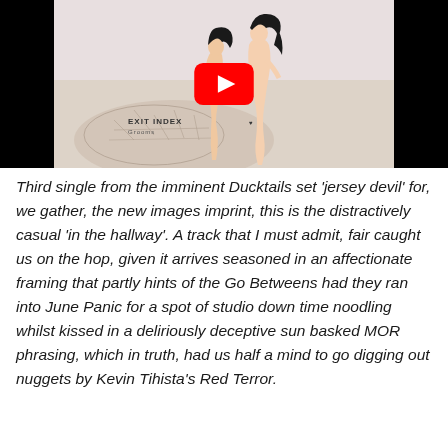[Figure (screenshot): YouTube video thumbnail showing album art for 'Exit Index' by Grooms, featuring illustrated nude figures against a pale background, with a red YouTube play button overlay. Black bars on left and right sides.]
Third single from the imminent Ducktails set 'jersey devil' for, we gather, the new images imprint, this is the distractively casual 'in the hallway'. A track that I must admit, fair caught us on the hop, given it arrives seasoned in an affectionate framing that partly hints of the Go Betweens had they ran into June Panic for a spot of studio down time noodling whilst kissed in a deliriously deceptive sun basked MOR phrasing, which in truth, had us half a mind to go digging out nuggets by Kevin Tihista's Red Terror.